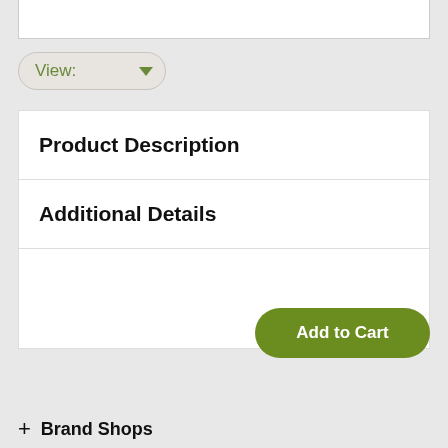[Figure (screenshot): Top white partial box clipped at top edge]
[Figure (screenshot): View dropdown button with green text and arrow]
Product Description
Additional Details
[Figure (screenshot): Empty accordion row (third row, blank)]
[Figure (screenshot): Add to Cart green rounded button]
+ Brand Shops